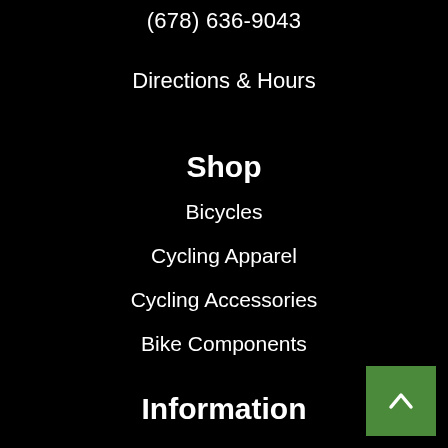(678) 636-9043
Directions & Hours
Shop
Bicycles
Cycling Apparel
Cycling Accessories
Bike Components
Information
About Us
Contact Us